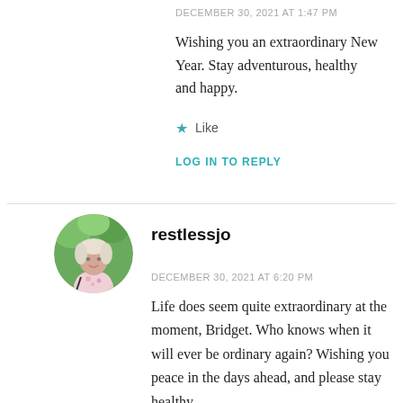DECEMBER 30, 2021 AT 1:47 PM
Wishing you an extraordinary New Year. Stay adventurous, healthy and happy.
★ Like
LOG IN TO REPLY
[Figure (photo): Circular avatar photo of restlessjo, a woman with light hair wearing a floral top, outdoors with green foliage background]
restlessjo
DECEMBER 30, 2021 AT 6:20 PM
Life does seem quite extraordinary at the moment, Bridget. Who knows when it will ever be ordinary again? Wishing you peace in the days ahead, and please stay healthy.